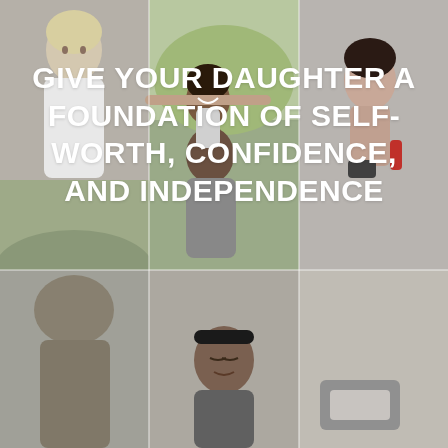[Figure (photo): Collage of family/parenting photos: top row shows a young person (left), a parent lifting a smiling child with arms spread wide outdoors (center), and a person with a phone (right); bottom row shows a person with a headband looking down (center) and partial figures.]
GIVE YOUR DAUGHTER A FOUNDATION OF SELF-WORTH, CONFIDENCE, AND INDEPENDENCE